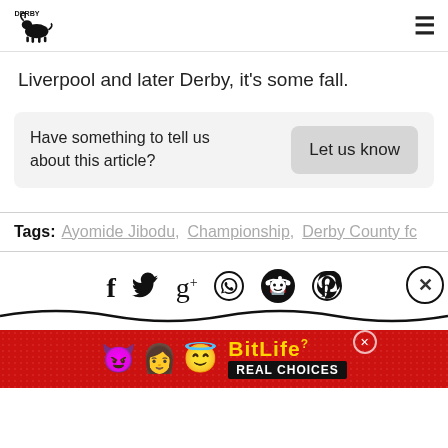Derby [logo] [hamburger menu]
Liverpool and later Derby, it's some fall.
Have something to tell us about this article? Let us know
Tags: Ayomide Jibodu, Championship, Derby County fc
[Figure (infographic): Social sharing icons: Facebook, Twitter, Google+, WhatsApp, Reddit, Pinterest, close button, with decorative wave underline]
[Figure (infographic): BitLife advertisement banner with emoji characters and 'REAL CHOICES' text]